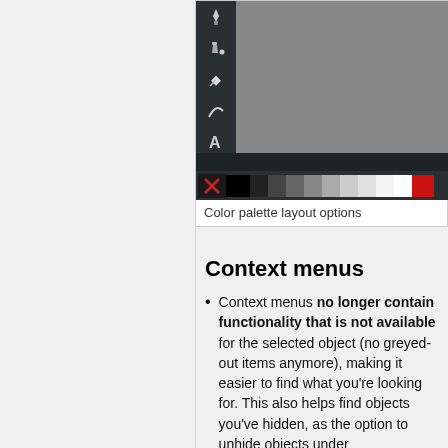[Figure (screenshot): Inkscape application window showing dark toolbar on left with icons (pen, paint bucket, diamond/node, curve, text, magnifier), a grey canvas area, dark bottom bar, and a color palette row at the bottom with X button and greyscale to red swatches.]
Color palette layout options
Context menus
Context menus no longer contain functionality that is not available for the selected object (no greyed-out items anymore), making it easier to find what you're looking for. This also helps find objects you've hidden, as the option to unhide objects under